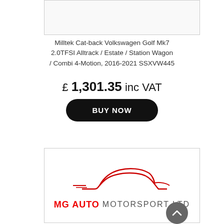[Figure (other): Partial product image box at top of page (cropped)]
Milltek Cat-back Volkswagen Golf Mk7 2.0TFSI Alltrack / Estate / Station Wagon / Combi 4-Motion, 2016-2021 SSXVW445
£ 1,301.35 inc VAT
BUY NOW
[Figure (logo): MG Auto Motorsport Ltd logo with red sports car silhouette outline above the text 'MG AUTO MOTORSPORT LTD']